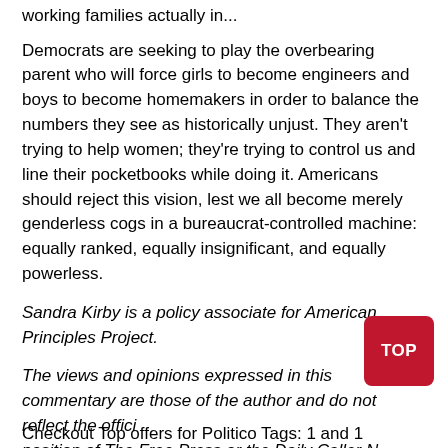working families actually in...
Democrats are seeking to play the overbearing parent who will force girls to become engineers and boys to become homemakers in order to balance the numbers they see as historically unjust. They aren’t trying to help women; they’re trying to control us and line their pocketbooks while doing it. Americans should reject this vision, lest we all become merely genderless cogs in a bureaucrat-controlled machine: equally ranked, equally insignificant, and equally powerless.
Sandra Kirby is a policy associate for American Principles Project.
The views and opinions expressed in this commentary are those of the author and do not reflect the official position of The Free Press or the Daily Caller News Foundation.
Checkout Top offers for Politico Tags: 1 and 1